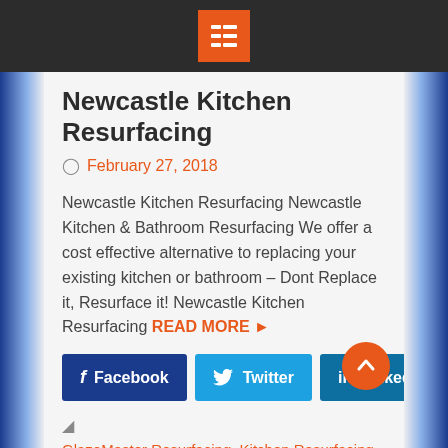Menu
Newcastle Kitchen Resurfacing
February 27, 2018
Newcastle Kitchen Resurfacing Newcastle Kitchen & Bathroom Resurfacing We offer a cost effective alternative to replacing your existing kitchen or bathroom – Dont Replace it, Resurface it! Newcastle Kitchen Resurfacing READ MORE
[Figure (other): Social share buttons: Facebook, Twitter, LinkedIn]
GlazeMaster Resurfacing, Kitchen Resurfacing, Newcastle Kitchen Resurfacing, Resurfacing
Melbourne Kitchen Resurfacing, Newcastle Bathroom Resurfacing, Newcastle Kitchen